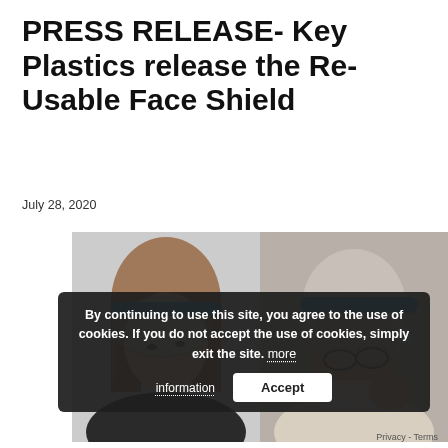PRESS RELEASE- Key Plastics release the Re-Usable Face Shield
July 28, 2020
[Figure (photo): Two photos side by side: left shows a young girl wearing a clear plastic face shield with a blue headband, leaning forward; right shows an elderly person wearing a clear face shield with blue headband and glasses.]
By continuing to use this site, you agree to the use of cookies. If you do not accept the use of cookies, simply exit the site. more information  Accept
Privacy - Terms